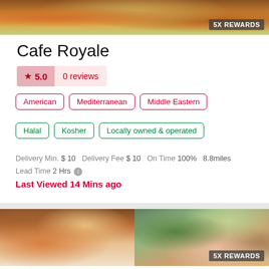[Figure (photo): Top food photo showing fried chicken or similar dish with shredded garnish, with 5X REWARDS badge]
Cafe Royale
★ 5.0   0 reviews
American
Mediterranean
Middle Eastern
Halal
Kosher
Locally owned & operated
Delivery Min. $ 10  Delivery Fee $ 10  On Time 100%  8.8miles
Lead Time 2 Hrs ℹ
Last Viewed 14 Mins ago
[Figure (photo): Bottom food photo showing French toast with berry sauce and avocado bowl, with 5X REWARDS badge]